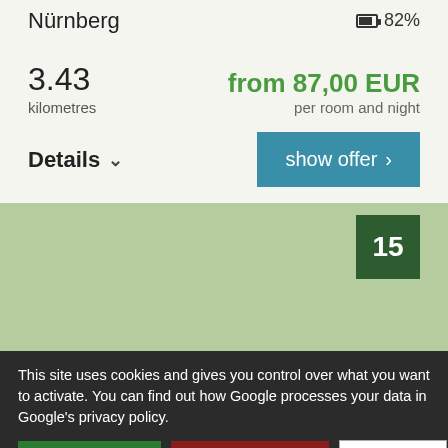Nürnberg
82%
3.43
kilometres
from 87,00 EUR
per room and night
Details
show offer >
[Figure (map): Green map area with marker showing number 15]
This site uses cookies and gives you control over what you want to activate. You can find out how Google processes your data in Google's privacy policy.
✓ OK, accept all
✗ Deny all cookies
Personalize
Privacy policy